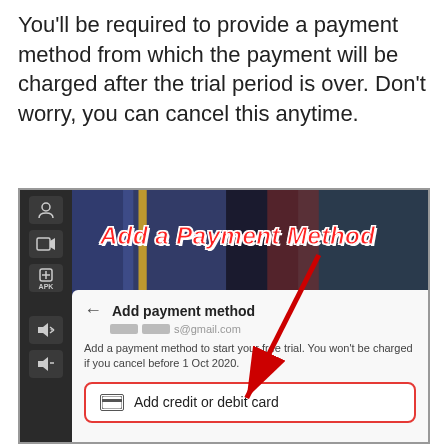You'll be required to provide a payment method from which the payment will be charged after the trial period is over. Don't worry, you can cancel this anytime.
[Figure (screenshot): Screenshot of a mobile app showing 'Add a Payment Method' screen. The top banner shows 'Add a Payment Method' text in bold red with white outline on a colorful background. Below is a dialog with 'Add payment method' heading, a redacted gmail address, description text about free trial cancellation before 1 Oct 2020, and an 'Add credit or debit card' button highlighted with a red border. A red arrow points from the banner area down to the card button. Left sidebar shows dark app controls.]